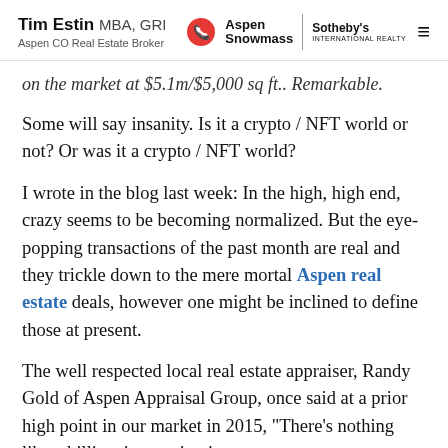Tim Estin MBA, GRI | Aspen CO Real Estate Broker | Aspen Snowmass | Sotheby's International Realty
on the market at $5.1m/$5,000 sq ft.. Remarkable.
Some will say insanity. Is it a crypto / NFT world or not? Or was it a crypto / NFT world?
I wrote in the blog last week: In the high, high end, crazy seems to be becoming normalized. But the eye-popping transactions of the past month are real and they trickle down to the mere mortal Aspen real estate deals, however one might be inclined to define those at present.
The well respected local real estate appraiser, Randy Gold of Aspen Appraisal Group, once said at a prior high point in our market in 2015, “There’s nothing like a billionaire coming into a